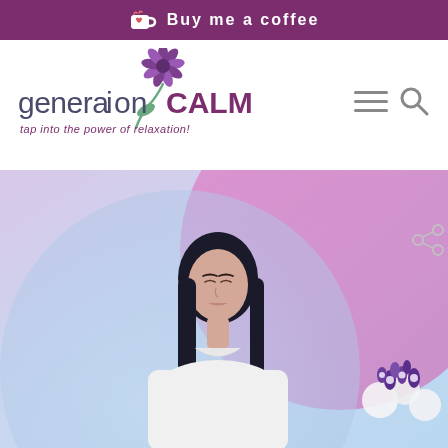Buy me a coffee
[Figure (logo): generationCALM logo with flower illustration and tagline 'tap into the power of relaxation!']
[Figure (photo): Woman with dark hair in white shirt meditating with eyes closed, against a soft gradient background of lavender pink and light blue, with purple and white flowers in the bottom right corner]